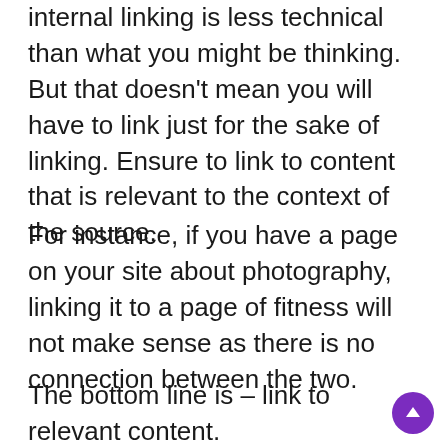internal linking is less technical than what you might be thinking. But that doesn't mean you will have to link just for the sake of linking. Ensure to link to content that is relevant to the context of the source.
For instance, if you have a page on your site about photography, linking it to a page of fitness will not make sense as there is no connection between the two.
The bottom line is – link to relevant content.